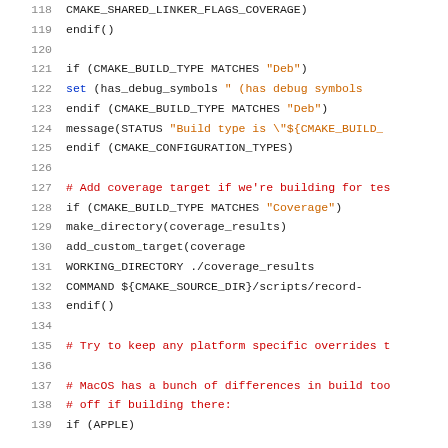Code listing lines 118-139, CMake build script with coverage and platform-specific configuration